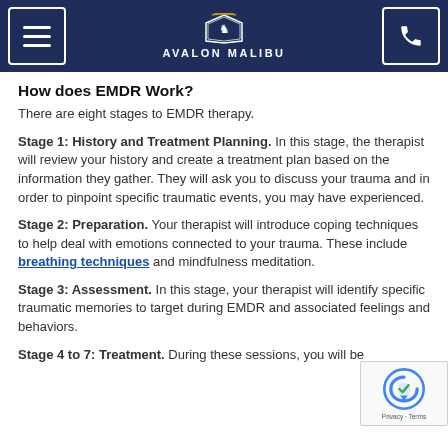77% of combat veterans were free of PTSD in 12 sessions.
AVALON MALIBU
How does EMDR Work?
There are eight stages to EMDR therapy.
Stage 1: History and Treatment Planning. In this stage, the therapist will review your history and create a treatment plan based on the information they gather. They will ask you to discuss your trauma and in order to pinpoint specific traumatic events, you may have experienced.
Stage 2: Preparation. Your therapist will introduce coping techniques to help deal with emotions connected to your trauma. These include breathing techniques and mindfulness meditation.
Stage 3: Assessment. In this stage, your therapist will identify specific traumatic memories to target during EMDR and associated feelings and behaviors.
Stage 4 to 7: Treatment. During these sessions, you will be